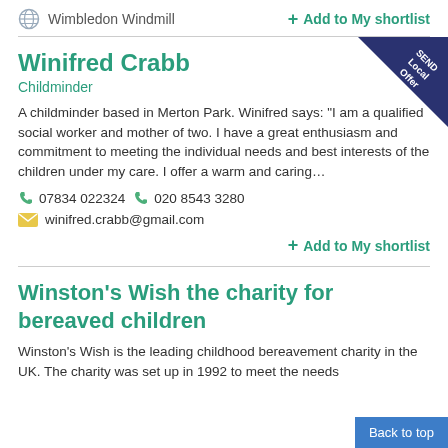Wimbledon Windmill
+ Add to My shortlist
Winifred Crabb
Childminder
A childminder based in Merton Park. Winifred says: "I am a qualified social worker and mother of two. I have a great enthusiasm and commitment to meeting the individual needs and best interests of the children under my care. I offer a warm and caring…
07834 022324   020 8543 3280
winifred.crabb@gmail.com
+ Add to My shortlist
Winston's Wish the charity for bereaved children
Winston's Wish is the leading childhood bereavement charity in the UK.  The charity was set up in 1992 to meet the needs